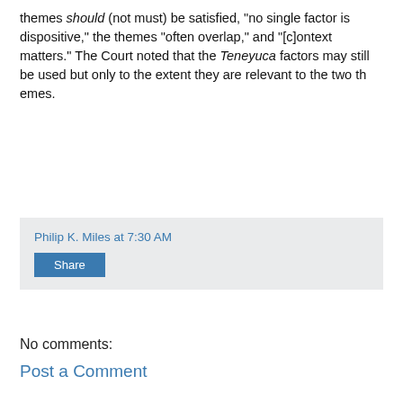themes should (not must) be satisfied, "no single factor is dispositive," the themes "often overlap," and "[c]ontext matters." The Court noted that the Teneyuca factors may still be used but only to the extent they are relevant to the two themes.
Philip K. Miles at 7:30 AM
Share
No comments:
Post a Comment
Home
View web version